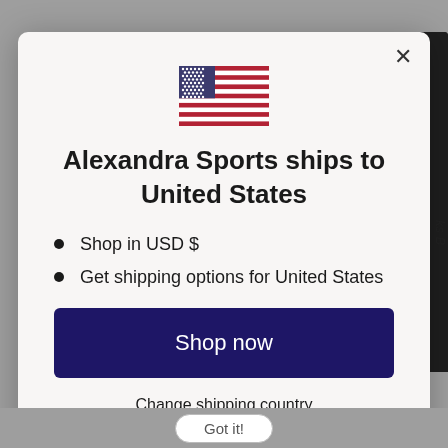[Figure (illustration): US flag emoji/icon centered at top of modal dialog]
Alexandra Sports ships to United States
Shop in USD $
Get shipping options for United States
Shop now
Change shipping country
Got it!